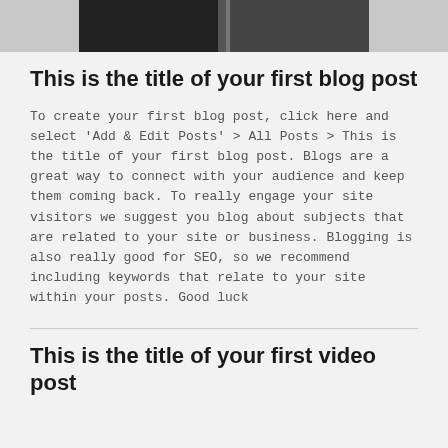[Figure (screenshot): Partial image strip at top of page showing a darkened banner/screenshot cropped at the top]
This is the title of your first blog post
To create your first blog post, click here and select 'Add & Edit Posts' > All Posts > This is the title of your first blog post. Blogs are a great way to connect with your audience and keep them coming back. To really engage your site visitors we suggest you blog about subjects that are related to your site or business. Blogging is also really good for SEO, so we recommend including keywords that relate to your site within your posts. Good luck
This is the title of your first video post